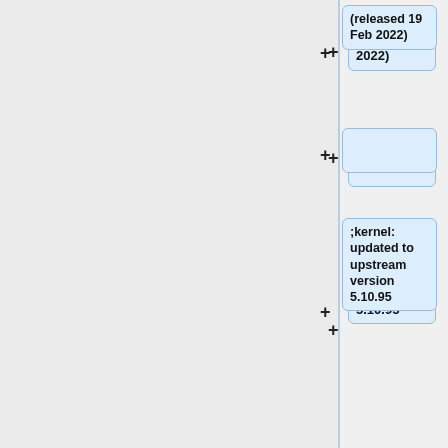(released 19 Feb 2022)
;kernel: updated to upstream version 5.10.95
;at: updated to upstream version 3.2.4
;expat: updated to upstream version 2.4.4
;iperf3: updated to upstream version 3.11
;stunnel: updated to